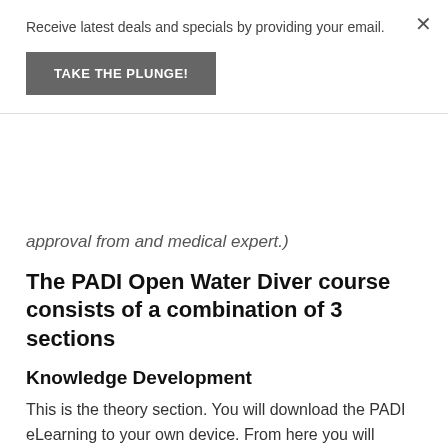Receive latest deals and specials by providing your email.
TAKE THE PLUNGE!
×
approval from and medical expert.)
The PADI Open Water Diver course consists of a combination of 3 sections
Knowledge Development
This is the theory section. You will download the PADI eLearning to your own device. From here you will progress through the 5 sections which are broken down into videos, quizzes and a final exam.
Confined Water Training
This is the training section which will be...